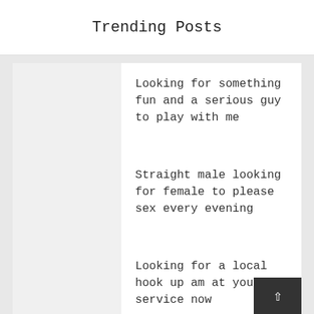Trending Posts
Looking for something fun and a serious guy to play with me
Straight male looking for female to please sex every evening
Looking for a local hook up am at your service now
Woman seek single males